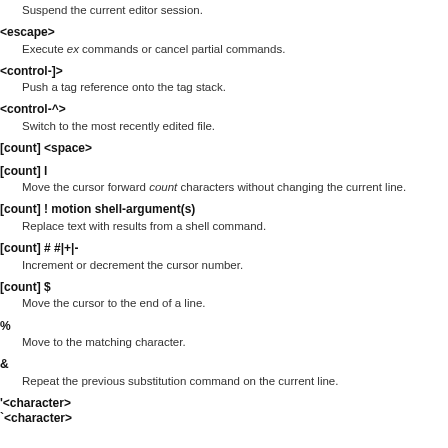Suspend the current editor session.
<escape>
Execute ex commands or cancel partial commands.
<control-]>
Push a tag reference onto the tag stack.
<control-^>
Switch to the most recently edited file.
[count] <space>
[count] l
Move the cursor forward count characters without changing the current line.
[count] ! motion shell-argument(s)
Replace text with results from a shell command.
[count] # #|+|-
Increment or decrement the cursor number.
[count] $
Move the cursor to the end of a line.
%
Move to the matching character.
&
Repeat the previous substitution command on the current line.
'<character>
`<character>